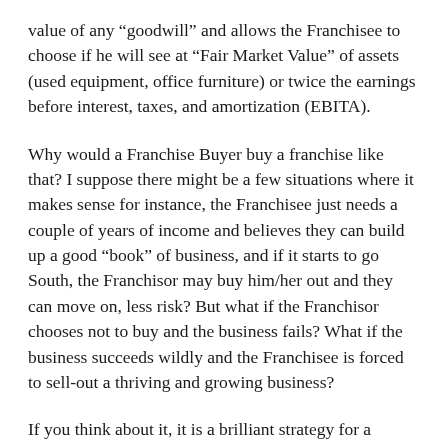value of any “goodwill” and allows the Franchisee to choose if he will see at “Fair Market Value” of assets (used equipment, office furniture) or twice the earnings before interest, taxes, and amortization (EBITA).
Why would a Franchise Buyer buy a franchise like that? I suppose there might be a few situations where it makes sense for instance, the Franchisee just needs a couple of years of income and believes they can build up a good “book” of business, and if it starts to go South, the Franchisor may buy him/her out and they can move on, less risk? But what if the Franchisor chooses not to buy and the business fails? What if the business succeeds wildly and the Franchisee is forced to sell-out a thriving and growing business?
If you think about it, it is a brilliant strategy for a Franchisor, have others build your business, take all the